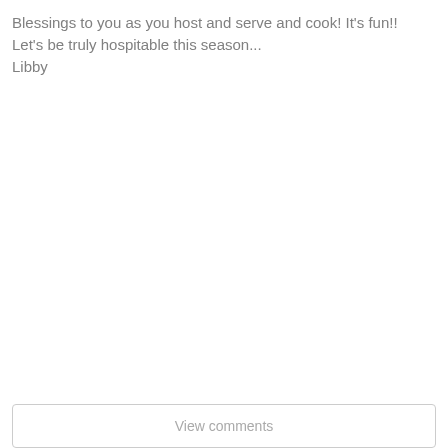Blessings to you as you host and serve and cook! It's fun!! Let's be truly hospitable this season... Libby
View comments